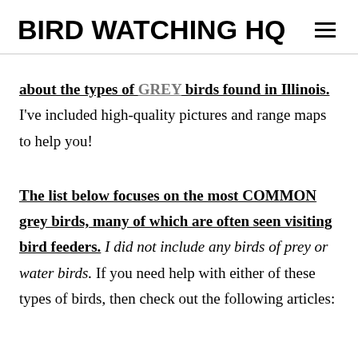BIRD WATCHING HQ
about the types of GREY birds found in Illinois. I've included high-quality pictures and range maps to help you!
The list below focuses on the most COMMON grey birds, many of which are often seen visiting bird feeders. I did not include any birds of prey or water birds. If you need help with either of these types of birds, then check out the following articles: